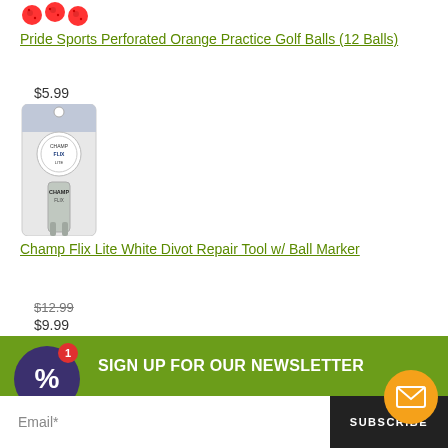[Figure (photo): Red perforated practice golf balls, partially visible at top of page]
Pride Sports Perforated Orange Practice Golf Balls (12 Balls)
$5.99
[Figure (photo): Champ Flix Lite White Divot Repair Tool with Ball Marker in blister packaging]
Champ Flix Lite White Divot Repair Tool w/ Ball Marker
$12.99
$9.99
SIGN UP FOR OUR NEWSLETTER
Email*
SUBSCRIBE